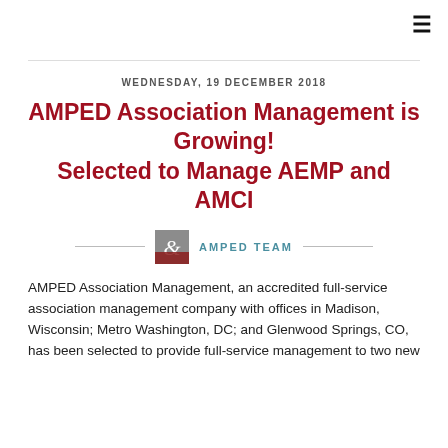≡
WEDNESDAY, 19 DECEMBER 2018
AMPED Association Management is Growing! Selected to Manage AEMP and AMCI
AMPED TEAM
AMPED Association Management, an accredited full-service association management company with offices in Madison, Wisconsin; Metro Washington, DC; and Glenwood Springs, CO, has been selected to provide full-service management to two new